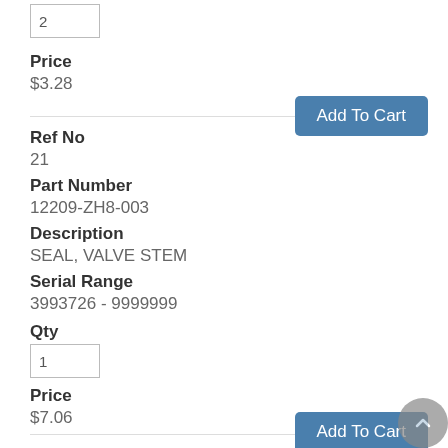2
Price
$3.28
Add To Cart
Ref No
21
Part Number
12209-ZH8-003
Description
SEAL, VALVE STEM
Serial Range
3993726 - 9999999
Qty
1
Price
$7.06
Add To Cart